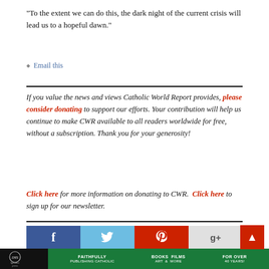noted.
“To the extent we can do this, the dark night of the current crisis will lead us to a hopeful dawn.”
Email this
If you value the news and views Catholic World Report provides, please consider donating to support our efforts. Your contribution will help us continue to make CWR available to all readers worldwide for free, without a subscription. Thank you for your generosity!
Click here for more information on donating to CWR. Click here to sign up for our newsletter.
[Figure (other): Social media sharing buttons: Facebook, Twitter, Pinterest, Google+, and more. Red scroll-to-top button on right.]
Ignatius Press — FAITHFULLY PUBLISHING CATHOLIC — BOOKS FILMS ART & MORE — FOR OVER 40 YEARS!